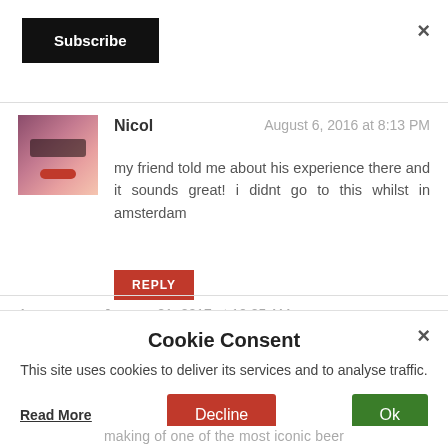[Figure (other): Subscribe button (black, bold text)]
×
[Figure (photo): Profile photo of a woman with dark hair and a masquerade mask, holding her face with both hands, red lips]
Nicol   August 6, 2016 at 8:13 PM
my friend told me about his experience there and it sounds great! i didnt go to this whilst in amsterdam
REPLY
Anonymous   January 21, 2017 at 10:25 AM
Cookie Consent
This site uses cookies to deliver its services and to analyse traffic.
Read More
Decline
Ok
making of one of the most iconic beer